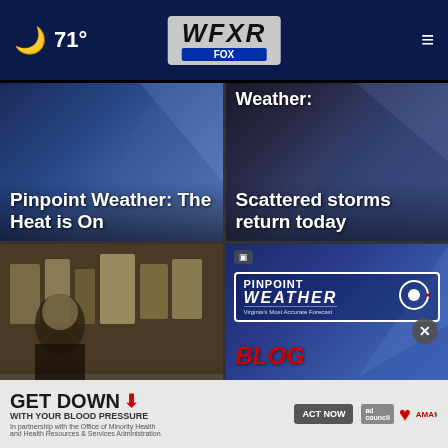🌙 71° WFXR FOX
[Figure (screenshot): News card: Pinpoint Weather: The Heat is On - dark blue weather graphic background]
[Figure (screenshot): News card: Weather: Scattered storms return today - dark blue weather graphic background]
[Figure (screenshot): News card: LPD searching for possible witness in shooting - store surveillance footage]
[Figure (screenshot): News card: Pinpoint Weather Blog - Pinpoint Weather: Warm pattern with Pinpoint Weather logo and BLOG badge]
GET DOWN WITH YOUR BLOOD PRESSURE - ACT NOW - In partnership with the Office of Minority Health and Health Resources & Services Administration. ad council AMA